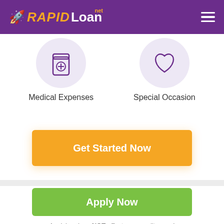[Figure (logo): RapidLoan.net logo with rocket icon on purple header, hamburger menu icon on right]
[Figure (illustration): Two circular icons: left shows a medicine/pill bottle (Medical Expenses), right shows a heart outline (Special Occasion)]
Medical Expenses
Special Occasion
Get Started Now
Apply Now
Applying does NOT affect your credit score!
No credit check to apply.